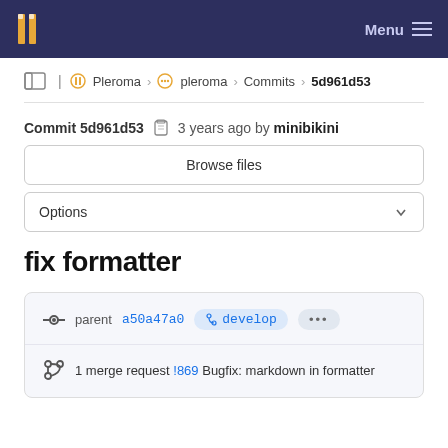Pleroma / pleroma / Commits / 5d961d53 — Menu
Commit 5d961d53 — 3 years ago by minibikini
Browse files
Options
fix formatter
parent a50a47a0 develop ...
1 merge request !869 Bugfix: markdown in formatter